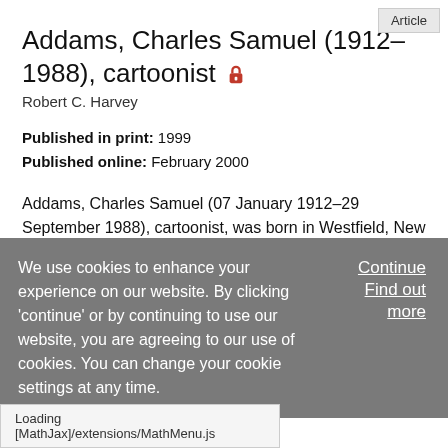Article
Addams, Charles Samuel (1912–1988), cartoonist 🔒
Robert C. Harvey
Published in print: 1999
Published online: February 2000
Addams, Charles Samuel (07 January 1912–29 September 1988), cartoonist, was born in Westfield, New Jersey, the son of Charles Huey Addams, the manager of a piano company, and Grace M. Spear. His father, who had studied to be an architect, encouraged young Charles to draw, and he did
We use cookies to enhance your experience on our website. By clicking 'continue' or by continuing to use our website, you are agreeing to our use of cookies. You can change your cookie settings at any time.
Continue
Find out more
Loading [MathJax]/extensions/MathMenu.js